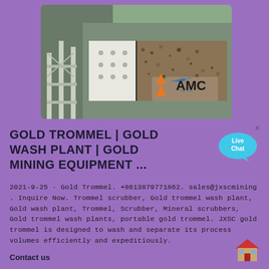[Figure (photo): Industrial gold mining conveyor/trommel equipment with AMC logo overlay, showing machinery with gravel/ore on a conveyor belt]
GOLD TROMMEL | GOLD WASH PLANT | GOLD MINING EQUIPMENT ...
[Figure (illustration): Live Chat speech bubble button in blue/cyan]
2021-9-25 · Gold Trommel. +8613879771862. sales@jxscmining . Inquire Now. Trommel scrubber, Gold trommel wash plant, Gold wash plant, Trommel, Scrubber, Mineral scrubbers, Gold trommel wash plants, portable gold trommel. JXSC gold trommel is designed to wash and separate its process volumes efficiently and expeditiously.
Contact us
[Figure (illustration): Small house/building icon in red and brown]